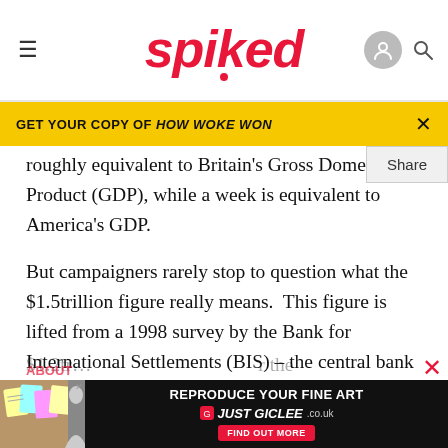spiked
GET YOUR COPY OF HOW WOKE WON
roughly equivalent to Britain's Gross Domestic Product (GDP), while a week is equivalent to America's GDP.
But campaigners rarely stop to question what the $1.5trillion figure really means. This figure is lifted from a 1998 survey by the Bank for International Settlements (BIS) – the central bank for central bankers. Yet the next triennial BIS survey, carried out in 2001, showed that the figure has fallen to
$1.2tr... for the
ABOUT